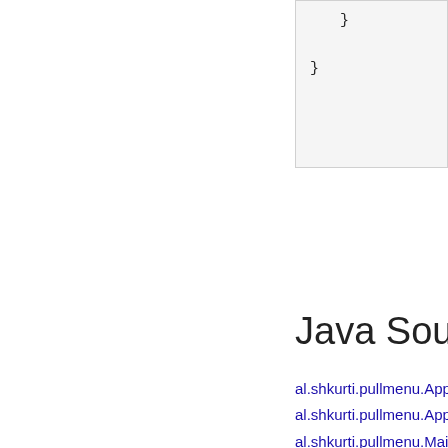}
}
Java Source C
al.shkurti.pullmenu.Applicatio
al.shkurti.pullmenu.Applicatio
al.shkurti.pullmenu.MainActiv
al.shkurti.pullmenu.MainActiv
al.shkurti.pullmenu.Navigatio